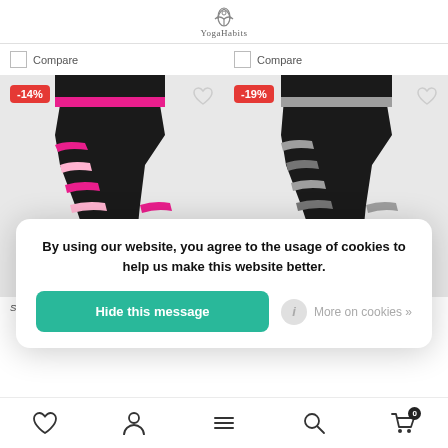YogaHabits
Compare
Compare
[Figure (photo): Striped yoga leggings with pink and black stripes, -14% discount badge]
[Figure (photo): Striped yoga leggings with grey/pink and black stripes, -19% discount badge]
By using our website, you agree to the usage of cookies to help us make this website better.
Hide this message
More on cookies »
Stripe Legging - Carry Stripe
Stripe Legging - April Stripe